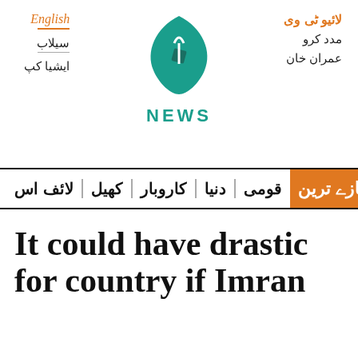[Figure (logo): Aaj News logo — teal flame/drop shape with inner square, teal text NEWS below]
English | سیلاب | ایشیا کپ | لائیو ٹی وی | مدد کرو | عمران خان
تازے ترین | قومی | دنیا | کاروبار | کھیل | لائف اس
It could have drastic for country if Imran